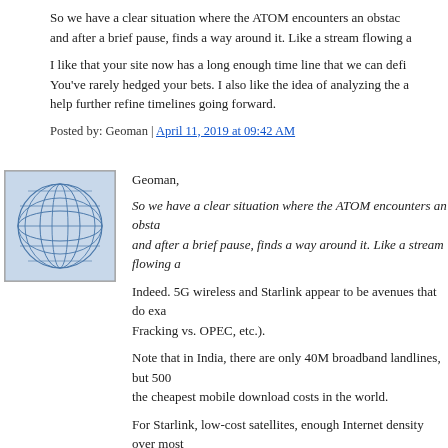So we have a clear situation where the ATOM encounters an obstacle, and after a brief pause, finds a way around it. Like a stream flowing a...
I like that your site now has a long enough time line that we can define... You've rarely hedged your bets. I also like the idea of analyzing the a... help further refine timelines going forward.
Posted by: Geoman | April 11, 2019 at 09:42 AM
[Figure (illustration): Globe/network avatar icon with blue crosshatch sphere pattern]
Geoman,
So we have a clear situation where the ATOM encounters an obstacle, and after a brief pause, finds a way around it. Like a stream flowing a...
Indeed. 5G wireless and Starlink appear to be avenues that do exac... Fracking vs. OPEC, etc.).
Note that in India, there are only 40M broadband landlines, but 500M... the cheapest mobile download costs in the world.
For Starlink, low-cost satellites, enough Internet density over most o... means that as powerful as Comcast is on one country, the rest of the... pressure to topple Comcast arises from the outside.
Posted by: Kartik Gada | April 11, 2019 at 07:22 PM
The comments to this entry are closed.